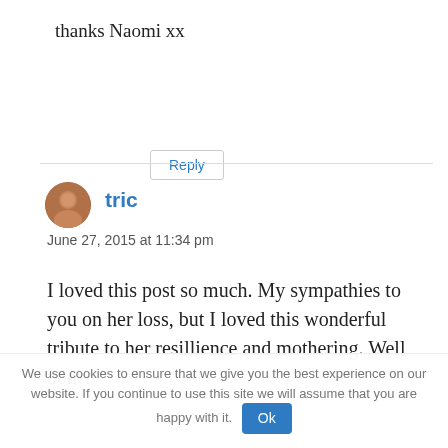thanks Naomi xx
Reply
tric
June 27, 2015 at 11:34 pm
I loved this post so much. My sympathies to you on her loss, but I loved this wonderful tribute to her resillience and mothering. Well done.
We use cookies to ensure that we give you the best experience on our website. If you continue to use this site we will assume that you are happy with it. Ok